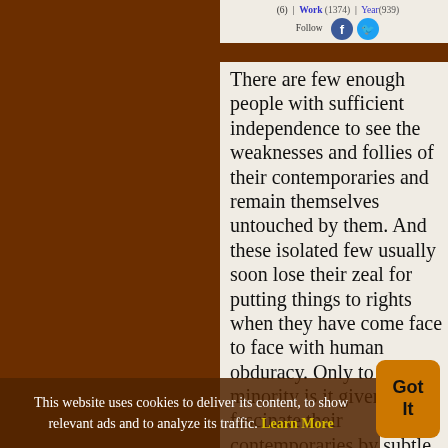(6) | Work (1374) | Year (939) Follow
There are few enough people with sufficient independence to see the weaknesses and follies of their contemporaries and remain themselves untouched by them. And these isolated few usually soon lose their zeal for putting things to rights when they have come face to face with human obduracy. Only to a tiny minority is it given to fascinate their contemporaries by subtle grace and to hold the mirror up to it
This website uses cookies to deliver its content, to show relevant ads and to analyze its traffic. Learn More